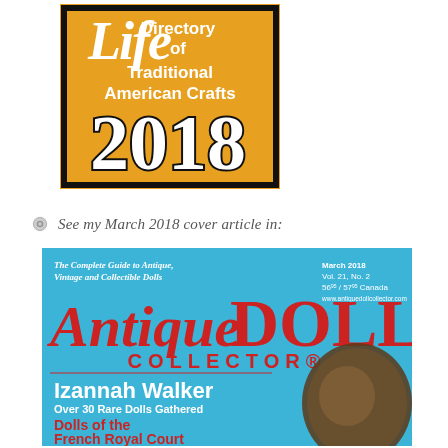[Figure (illustration): Life Directory of Traditional American Crafts 2018 - yellow/orange background with bold white text and thick black border]
See my March 2018 cover article in:
[Figure (illustration): Cover of Antique Doll Collector magazine, March 2018, Vol. 21 No. 2. Blue background with red title 'Antique DOLL COLLECTOR'. Features 'The Complete Guide to Antique, Vintage and Collectible Dolls'. Headline: Izannah Walker Over 30 Rare Dolls Gathered. Subhead in red: Dolls of the French Royal Court. Shows photo of an antique doll head.]